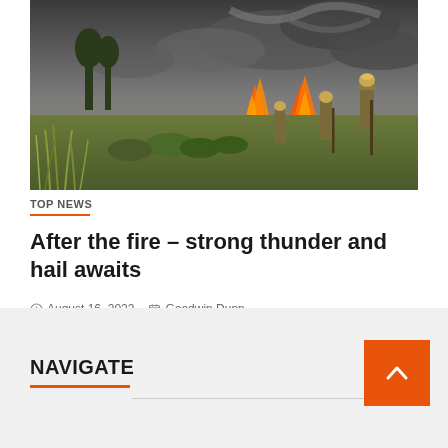[Figure (photo): Firefighters in protective gear battling a wildfire in dry grassland and brush, with flames and thick black smoke in the background, trees visible in distance.]
TOP NEWS
After the fire – strong thunder and hail awaits
August 16, 2022   Goodwin Dunn
NAVIGATE